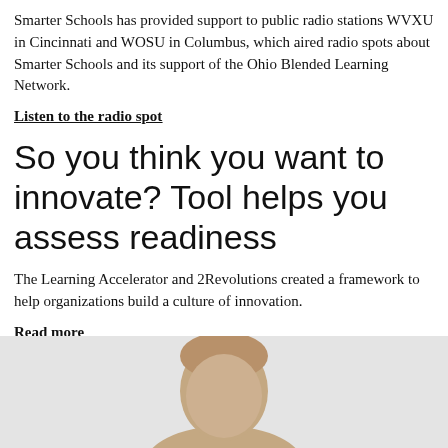Smarter Schools has provided support to public radio stations WVXU in Cincinnati and WOSU in Columbus, which aired radio spots about Smarter Schools and its support of the Ohio Blended Learning Network.
Listen to the radio spot
So you think you want to innovate? Tool helps you assess readiness
The Learning Accelerator and 2Revolutions created a framework to help organizations build a culture of innovation.
Read more
[Figure (photo): A headshot photo of a person in a light gray background panel, showing the top of a person's head and shoulders, centered slightly to the right within the panel.]